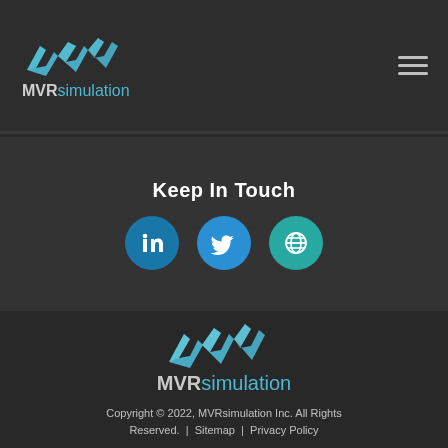[Figure (logo): MVRsimulation logo with teal wave mark and text in top navigation bar]
Keep In Touch
[Figure (infographic): Three social media icon buttons: LinkedIn (blue), Twitter (blue), and a globe/website icon (teal)]
[Figure (logo): MVRsimulation logo (large) in footer with teal wave mark and text]
Copyright © 2022, MVRsimulation Inc. All Rights Reserved.  |  Sitemap  |  Privacy Policy